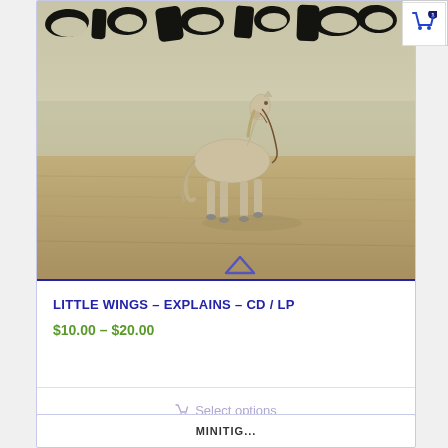[Figure (photo): Album cover for 'Little Wings – Explains – CD/LP' showing a white horse standing on a sandy beach in misty/foggy conditions, with large black brushstroke text at the top of the image.]
LITTLE WINGS – EXPLAINS – CD / LP
$10.00 – $20.00
Select options